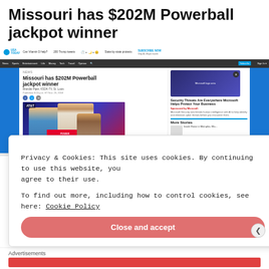Missouri has $202M Powerball jackpot winner
[Figure (screenshot): Screenshot of USA Today website showing article 'Missouri has $202M Powerball jackpot winner' with a photo of a woman holding a Powerball winner sign with a man beside her in a store, and a right sidebar ad for Microsoft security.]
Privacy & Cookies: This site uses cookies. By continuing to use this website, you agree to their use.
To find out more, including how to control cookies, see here: Cookie Policy
Close and accept
Advertisements